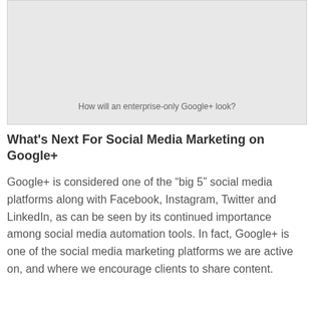[Figure (other): Light gray placeholder image box with caption text at the bottom reading 'How will an enterprise-only Google+ look?']
How will an enterprise-only Google+ look?
What's Next For Social Media Marketing on Google+
Google+ is considered one of the “big 5” social media platforms along with Facebook, Instagram, Twitter and LinkedIn, as can be seen by its continued importance among social media automation tools. In fact, Google+ is one of the social media marketing platforms we are active on, and where we encourage clients to share content.